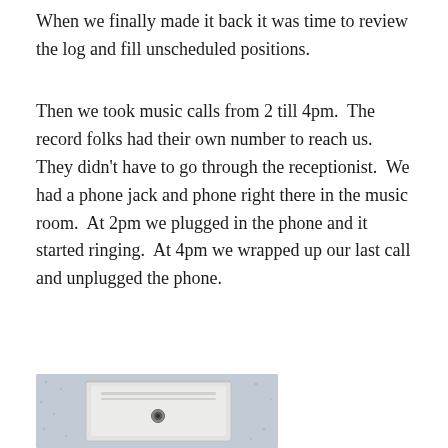When we finally made it back it was time to review the log and fill unscheduled positions.
Then we took music calls from 2 till 4pm.  The record folks had their own number to reach us.  They didn't have to go through the receptionist.  We had a phone jack and phone right there in the music room.  At 2pm we plugged in the phone and it started ringing.  At 4pm we wrapped up our last call and unplugged the phone.
[Figure (photo): A white telephone wall jack/outlet mounted on a light blue textured wall, photographed up close.]